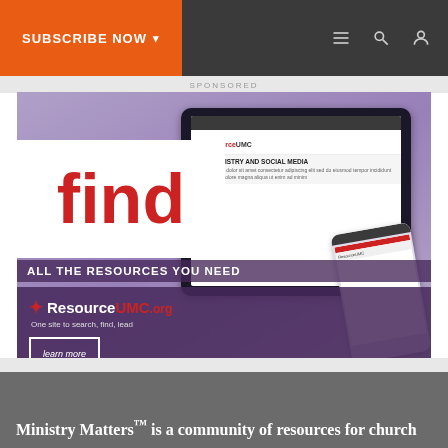SUBSCRIBE NOW ▾
SPONSORED
[Figure (advertisement): ResourceUMC.org advertisement showing the word 'find' in large red text on white background, over a tablet displaying the ResourceUMC website. Text reads 'ALL THE RESOURCES YOU NEED', 'ResourceUMC.org', 'One site to search, find, lead', with a 'learn more' button.]
Ministry Matters™ is a community of resources for church